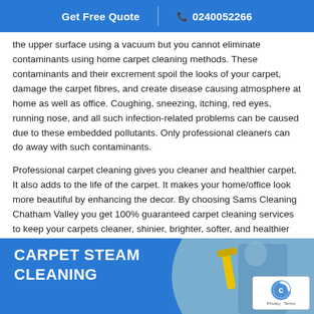Get Free Quote  |  📞 0240052266
the upper surface using a vacuum but you cannot eliminate contaminants using home carpet cleaning methods. These contaminants and their excrement spoil the looks of your carpet, damage the carpet fibres, and create disease causing atmosphere at home as well as office. Coughing, sneezing, itching, red eyes, running nose, and all such infection-related problems can be caused due to these embedded pollutants. Only professional cleaners can do away with such contaminants.
Professional carpet cleaning gives you cleaner and healthier carpet. It also adds to the life of the carpet. It makes your home/office look more beautiful by enhancing the decor. By choosing Sams Cleaning Chatham Valley you get 100% guaranteed carpet cleaning services to keep your carpets cleaner, shinier, brighter, softer, and healthier for a long time.
[Figure (photo): Carpet steam cleaning promotional banner with blue background, white bold text reading 'CARPET STEAM CLEANING', and a photo of a person using a vacuum/steam cleaning tool on a carpet.]